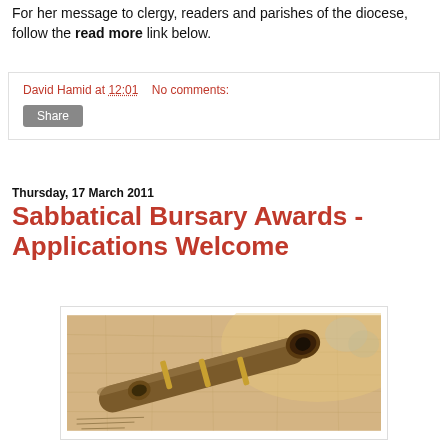For her message to clergy, readers and parishes of the diocese, follow the read more link below.
David Hamid at 12:01    No comments:
Share
Thursday, 17 March 2011
Sabbatical Bursary Awards - Applications Welcome
[Figure (photo): A brass telescope/spyglass resting on an old map, with other glass objects visible in the background.]